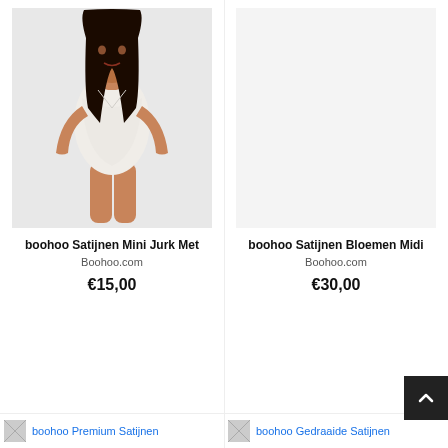[Figure (photo): Woman wearing a white satin mini dress with long sleeves, posing against a light background]
boohoo Satijnen Mini Jurk Met
Boohoo.com
€15,00
[Figure (photo): No image loaded for boohoo Satijnen Bloemen Midi product]
boohoo Satijnen Bloemen Midi
Boohoo.com
€30,00
[Figure (photo): Partially loaded image for boohoo Premium Satijnen product]
boohoo Premium Satijnen
[Figure (photo): Partially loaded image for boohoo Gedraaide Satijnen product]
boohoo Gedraaide Satijnen